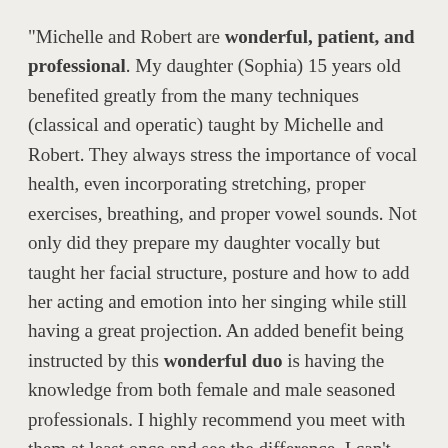“Michelle and Robert are wonderful, patient, and professional. My daughter (Sophia) 15 years old benefited greatly from the many techniques (classical and operatic) taught by Michelle and Robert. They always stress the importance of vocal health, even incorporating stretching, proper exercises, breathing, and proper vowel sounds. Not only did they prepare my daughter vocally but taught her facial structure, posture and how to add her acting and emotion into her singing while still having a great projection. An added benefit being instructed by this wonderful duo is having the knowledge from both female and male seasoned professionals. I highly recommend you meet with them at least once and see the difference. I can’t wait to see them again.” (Parent) ~Jess M.